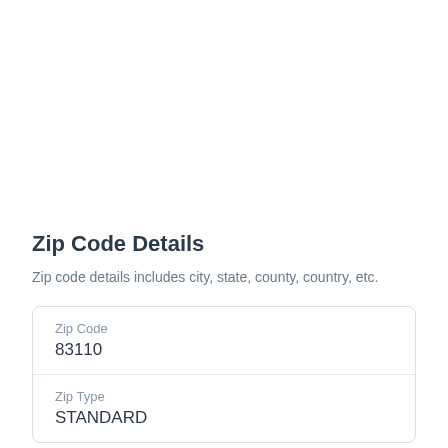Zip Code Details
Zip code details includes city, state, county, country, etc.
| Field | Value |
| --- | --- |
| Zip Code | 83110 |
| Zip Type | STANDARD |